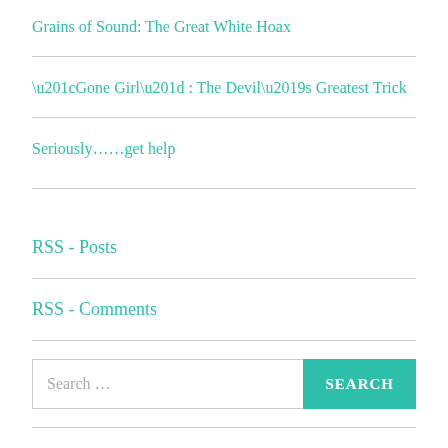Grains of Sound: The Great White Hoax
“Gone Girl” : The Devil’s Greatest Trick
Seriously……get help
RSS - Posts
RSS - Comments
Search ...